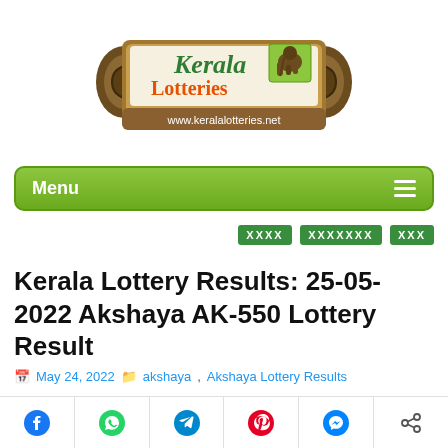[Figure (logo): Kerala Lotteries logo with scroll design, green Kerala text, orange Lotteries text, elephant icon, and website www.keralalotteries.net]
Menu
[Figure (infographic): Three green rectangular ad/banner blocks with X placeholder patterns]
Kerala Lottery Results: 25-05-2022 Akshaya AK-550 Lottery Result
May 24, 2022  akshaya, Akshaya Lottery Results
[Figure (other): Social share bar with Facebook, WhatsApp, Telegram, Pinterest, Messenger, and share icons]